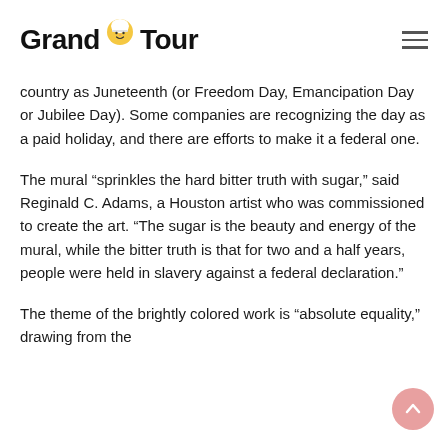Grand Tour
country as Juneteenth (or Freedom Day, Emancipation Day or Jubilee Day). Some companies are recognizing the day as a paid holiday, and there are efforts to make it a federal one.
The mural “sprinkles the hard bitter truth with sugar,” said Reginald C. Adams, a Houston artist who was commissioned to create the art. “The sugar is the beauty and energy of the mural, while the bitter truth is that for two and a half years, people were held in slavery against a federal declaration.”
The theme of the brightly colored work is “absolute equality,” drawing from the